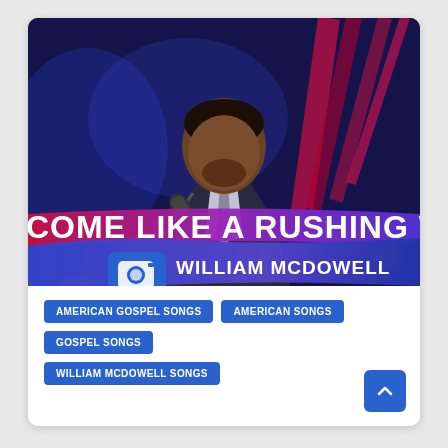[Figure (photo): A man in a dark suit performing on stage at a microphone with arms outstretched, dramatic blue and red stage lighting. Text overlay reads 'COME LIKE A RUSHING WIN' (truncated) in white on a red-to-purple gradient banner, and 'WILLIAM MCDOWELL' in white bold text on a blue-purple banner below, with a camera icon on the left.]
AMERICAN GOSPEL SONGS
AMERICAN SONGS
GOSPEL SONGS
WILLIAM MCDOWELL SONGS